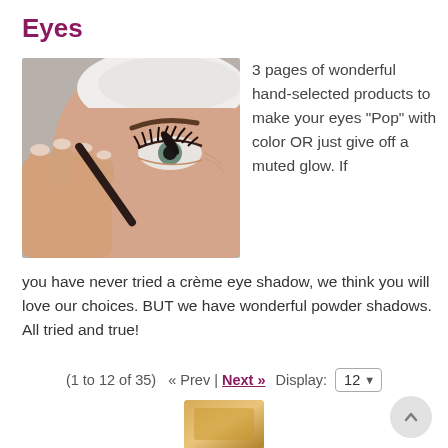Eyes
[Figure (photo): Close-up photo of a woman applying mascara with a mascara wand to her eyelashes. She is wearing a white headband. Her eye is open and looking at the camera. The background is grey.]
3 pages of wonderful hand-selected products to make your eyes “Pop” with color OR just give off a muted glow. If you have never tried a crème eye shadow, we think you will love our choices. BUT we have wonderful powder shadows. All tried and true!
(1 to 12 of 35)  « Prev | Next »  Display: 12
[Figure (photo): Partial view of a beauty/cosmetics product at the bottom of the page.]